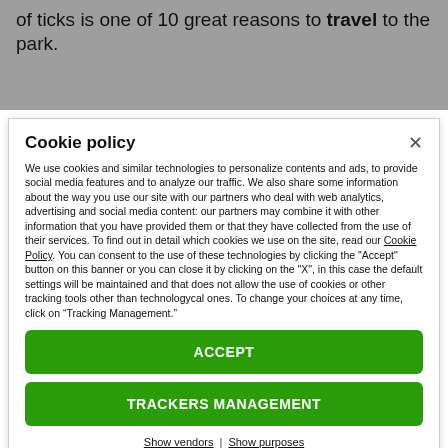of ticks is one of 10 great reasons to travel to the park.
Cookie policy
We use cookies and similar technologies to personalize contents and ads, to provide social media features and to analyze our traffic. We also share some information about the way you use our site with our partners who deal with web analytics, advertising and social media content: our partners may combine it with other information that you have provided them or that they have collected from the use of their services. To find out in detail which cookies we use on the site, read our Cookie Policy. You can consent to the use of these technologies by clicking the "Accept" button on this banner or you can close it by clicking on the "X", in this case the default settings will be maintained and that does not allow the use of cookies or other tracking tools other than technologycal ones. To change your choices at any time, click on “Tracking Management.”
ACCEPT
TRACKERS MANAGEMENT
Show vendors | Show purposes